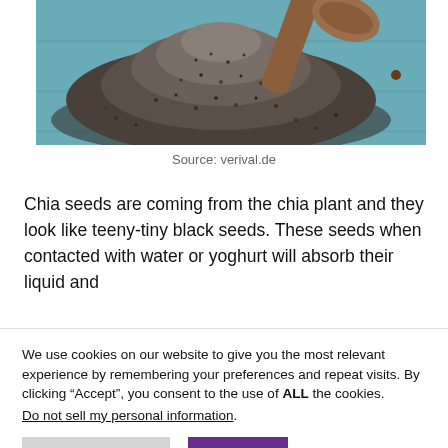[Figure (photo): A pile of chia seeds with a wooden spoon on a light blue wooden surface, viewed from above.]
Source: verival.de
Chia seeds are coming from the chia plant and they look like teeny-tiny black seeds. These seeds when contacted with water or yoghurt will absorb their liquid and
We use cookies on our website to give you the most relevant experience by remembering your preferences and repeat visits. By clicking “Accept”, you consent to the use of ALL the cookies.
Do not sell my personal information.